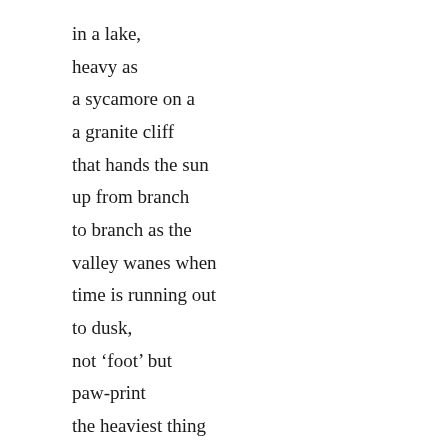in a lake,
heavy as
a sycamore on a
a granite cliff
that hands the sun
up from branch
to branch as the
valley wanes when
time is running out
to dusk,
not ‘foot’ but
paw-print
the heaviest thing
left of his companion
cat who wound
the spool of days